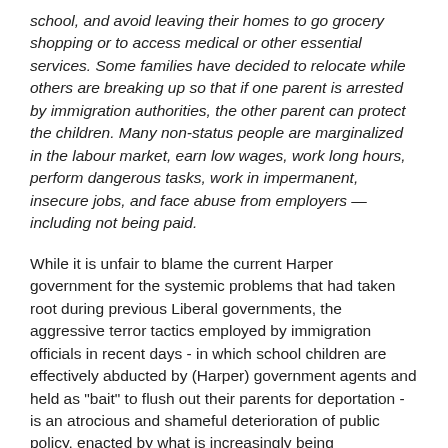school, and avoid leaving their homes to go grocery shopping or to access medical or other essential services. Some families have decided to relocate while others are breaking up so that if one parent is arrested by immigration authorities, the other parent can protect the children. Many non-status people are marginalized in the labour market, earn low wages, work long hours, perform dangerous tasks, work in impermanent, insecure jobs, and face abuse from employers — including not being paid.
While it is unfair to blame the current Harper government for the systemic problems that had taken root during previous Liberal governments, the aggressive terror tactics employed by immigration officials in recent days - in which school children are effectively abducted by (Harper) government agents and held as "bait" to flush out their parents for deportation - is an atrocious and shameful deterioration of public policy, enacted by what is increasingly being demonstrated as a heartless and uncaring government, aimed at benefiting the privileged, under a false rubric of so-